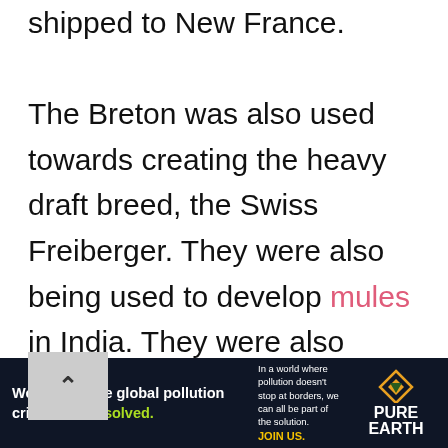shipped to New France.
The Breton was also used towards creating the heavy draft breed, the Swiss Freiberger. They were also being used to develop mules in India. They were also crossed with Anglo Arabian Stallions at the Saharanpur Breeding Farm to create carriage horses.
[Figure (other): Pure Earth advertisement banner: 'We believe the global pollution crisis can be solved.' with tagline about world pollution and JOIN US call to action, featuring Pure Earth logo.]